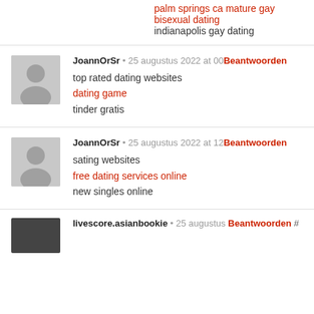palm springs ca mature gay bisexual dating
indianapolis gay dating
JoannOrSr • 25 augustus 2022 at 00 Beantwoorden
top rated dating websites
dating game
tinder gratis
JoannOrSr • 25 augustus 2022 at 12 Beantwoorden
sating websites
free dating services online
new singles online
livescore.asianbookie • 25 augustus Beantwoorden #